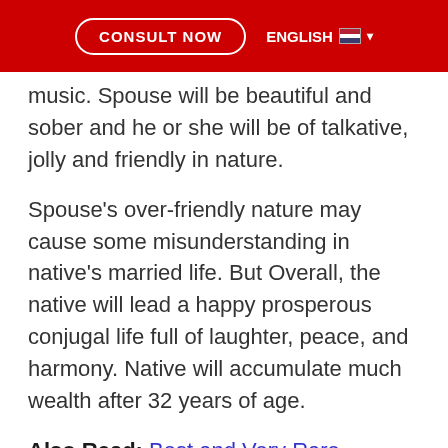CONSULT NOW  ENGLISH  🇺🇸 ▾
music. Spouse will be beautiful and sober and he or she will be of talkative, jolly and friendly in nature.
Spouse's over-friendly nature may cause some misunderstanding in native's married life. But Overall, the native will lead a happy prosperous conjugal life full of laughter, peace, and harmony. Native will accumulate much wealth after 32 years of age.
Also Read: Best and Very Rare Different Yogas In Vedic Astrology
The native will gain substantial wealth from a